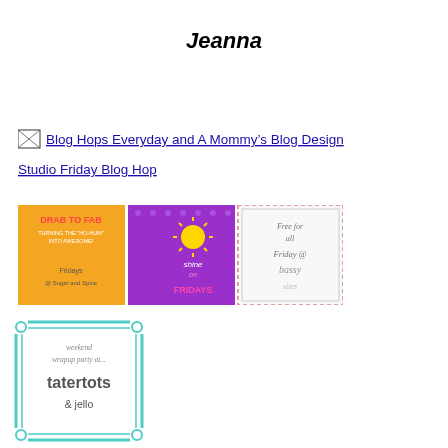Jeanna
[Figure (illustration): Broken image icon followed by link text: Blog Hops Everyday and A Mommy's Blog Design Studio Friday Blog Hop]
[Figure (illustration): Three blog hop banner images side by side: 1) Drab to Fab - Turning the 'Ho-Hum' into Awesome! Fridays @ Sugar and Spice (orange/yellow background), 2) Shine on Fridays (purple polka dot background with sun), 3) Free for all Friday @ bassy sites (white/pink dotted border)]
[Figure (illustration): Weekend Wrapup Party at... tatertots & jello - teal/turquoise framed logo badge]